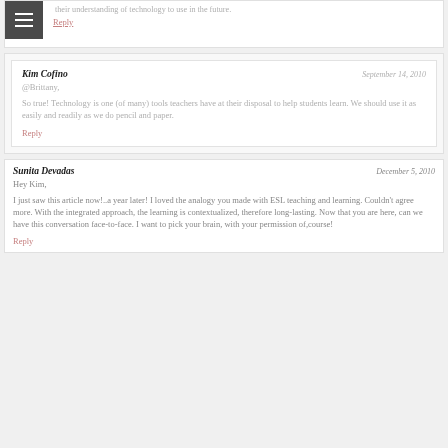their understanding of technology to use in the future.
Reply
Kim Cofino
September 14, 2010
@Brittany,
So true! Technology is one (of many) tools teachers have at their disposal to help students learn. We should use it as easily and readily as we do pencil and paper.
Reply
Sunita Devadas
December 5, 2010
Hey Kim,
I just saw this article now!..a year later! I loved the analogy you made with ESL teaching and learning. Couldn't agree more. With the integrated approach, the learning is contextualized, therefore long-lasting. Now that you are here, can we have this conversation face-to-face. I want to pick your brain, with your permission of course!
Reply